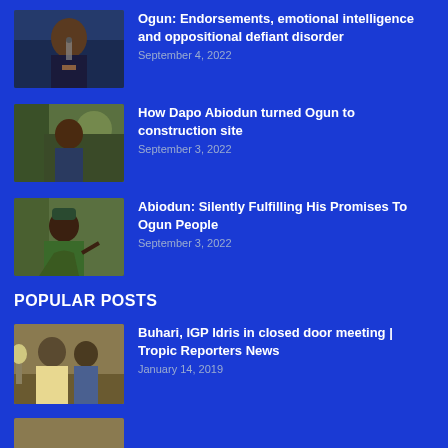Ogun: Endorsements, emotional intelligence and oppositional defiant disorder — September 4, 2022
How Dapo Abiodun turned Ogun to construction site — September 3, 2022
Abiodun: Silently Fulfilling His Promises To Ogun People — September 3, 2022
POPULAR POSTS
Buhari, IGP Idris in closed door meeting | Tropic Reporters News — January 14, 2019